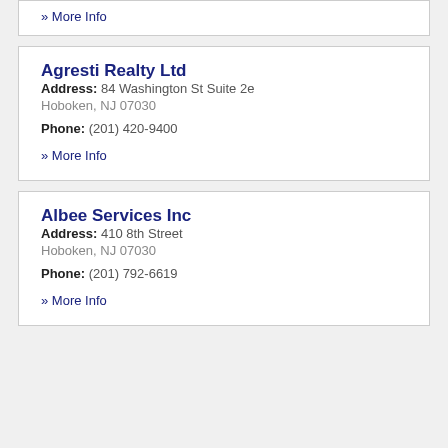» More Info
Agresti Realty Ltd
Address: 84 Washington St Suite 2e
Hoboken, NJ 07030
Phone: (201) 420-9400
» More Info
Albee Services Inc
Address: 410 8th Street
Hoboken, NJ 07030
Phone: (201) 792-6619
» More Info